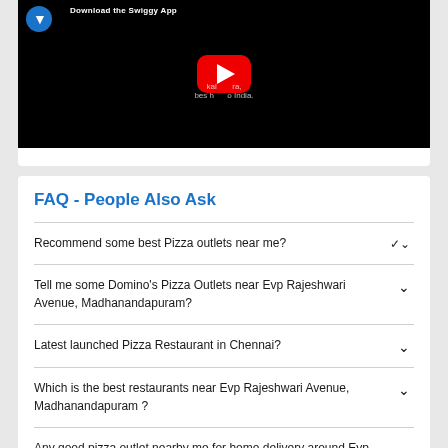[Figure (screenshot): YouTube video thumbnail with black background, YouTube play button in center, logo top-left, partial text overlay]
FAQ - People Also Ask
Recommend some best Pizza outlets near me?
Tell me some Domino's Pizza Outlets near Evp Rajeshwari Avenue, Madhanandapuram?
Latest launched Pizza Restaurant in Chennai?
Which is the best restaurants near Evp Rajeshwari Avenue, Madhanandapuram ?
Any good pizza outlet nearby me for home delivery around Evp Rajeshwari Avenue, Madhanandapuram?
Suggest Some Best Nearby Pizza Outlets in Evp Rajeshwari Avenue, Madhanandapuram?